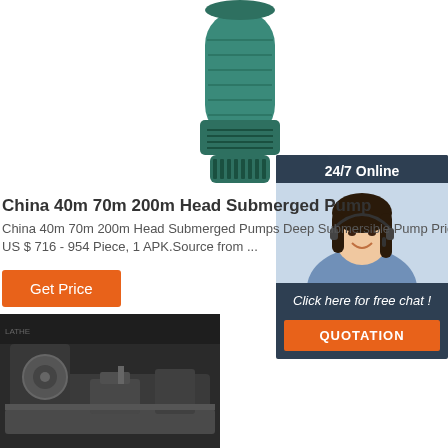[Figure (photo): Green submersible deep well pump, cylindrical shape with grooved body and filter base]
[Figure (photo): 24/7 Online chat widget showing a smiling woman with headset, dark blue background, with 'Click here for free chat!' and orange QUOTATION button]
China 40m 70m 200m Head Submerged Pump
China 40m 70m 200m Head Submerged Pumps Deep Submersible Pump Price List, US $ 716 - 954 Piece, 1 APK.Source from ...
Get Price
[Figure (photo): Industrial lathe machine in a factory workshop, dark metallic tones]
[Figure (photo): Industrial machinery in factory, with TOP logo overlay in orange on the right side]